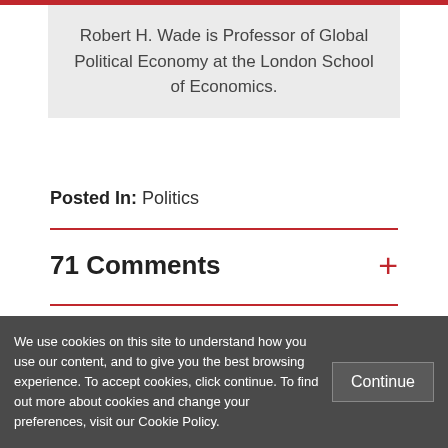Robert H. Wade is Professor of Global Political Economy at the London School of Economics.
Posted In: Politics
71 Comments
We use cookies on this site to understand how you use our content, and to give you the best browsing experience. To accept cookies, click continue. To find out more about cookies and change your preferences, visit our Cookie Policy.